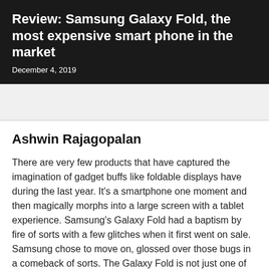Review: Samsung Galaxy Fold, the most expensive smart phone in the market
December 4, 2019
Ashwin Rajagopalan
There are very few products that have captured the imagination of gadget buffs like foldable displays have during the last year. It's a smartphone one moment and then magically morphs into a large screen with a tablet experience. Samsung's Galaxy Fold had a baptism by fire of sorts with a few glitches when it first went on sale. Samsung chose to move on, glossed over those bugs in a comeback of sorts. The Galaxy Fold is not just one of the most expensive smartphones you can buy now, it's also a device that might point to a not so distant future.